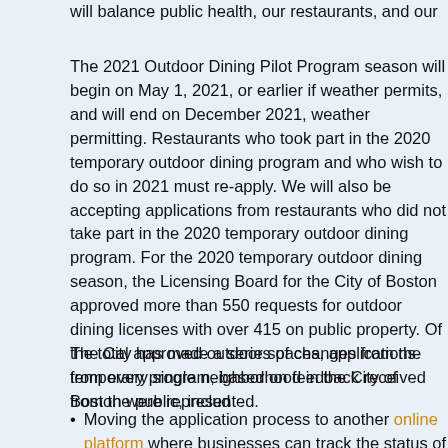will balance public health, our restaurants, and our residents.
The 2021 Outdoor Dining Pilot Program season will begin on May 1, 2021, or earlier if weather permits, and will end on December 2021, weather permitting. Restaurants who took part in the 2020 temporary outdoor dining program and who wish to do so in 2021 must re-apply. We will also be accepting applications from restaurants who did not take part in the 2020 temporary outdoor dining program. For the 2020 temporary outdoor dining season, the Licensing Board for the City of Boston approved more than 550 requests for outdoor dining licenses with over 415 on public property. Of the total approved outdoor spaces, applications from every single neighborhood in the City of Boston were represented.
The City has made a series of changes from the temporary program, based on feedback received from the public, including:
Moving the application process to another online platform where businesses can track the status of their